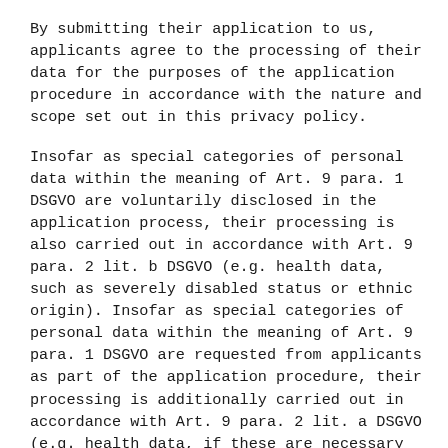By submitting their application to us, applicants agree to the processing of their data for the purposes of the application procedure in accordance with the nature and scope set out in this privacy policy.
Insofar as special categories of personal data within the meaning of Art. 9 para. 1 DSGVO are voluntarily disclosed in the application process, their processing is also carried out in accordance with Art. 9 para. 2 lit. b DSGVO (e.g. health data, such as severely disabled status or ethnic origin). Insofar as special categories of personal data within the meaning of Art. 9 para. 1 DSGVO are requested from applicants as part of the application procedure, their processing is additionally carried out in accordance with Art. 9 para. 2 lit. a DSGVO (e.g. health data, if these are necessary for the exercise of the profession).